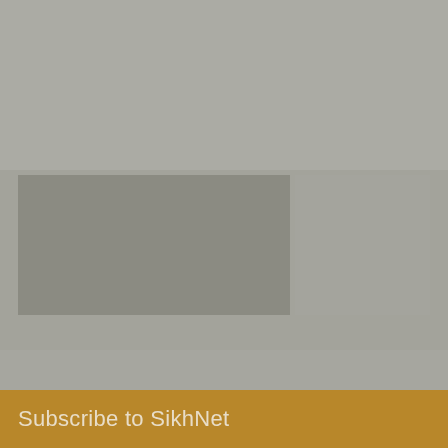[Figure (photo): A largely gray/muted photograph filling the upper portion of the page, with a darker rectangular inset region in the lower-left area of the photo. The image appears to show an outdoor or architectural scene but is heavily desaturated and low contrast.]
Subscribe to SikhNet